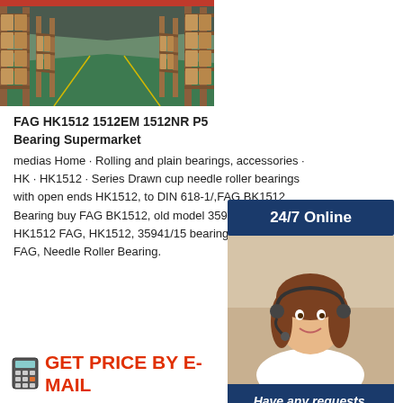[Figure (photo): Warehouse interior with tall shelving racks filled with brown cardboard boxes, green floor, perspective view down a central aisle.]
FAG HK1512 1512EM 1512NR P5 Bearing Supermarket
medias Home · Rolling and plain bearings, accessories · HK · HK1512 · Series Drawn cup needle roller bearings with open ends HK1512, to DIN 618-1/,FAG BK1512 Bearing buy FAG BK1512, old model 35941/15 bearing HK1512 FAG, HK1512, 35941/15 bearing, 15, 21, 12, FAG, Needle Roller Bearing.
[Figure (infographic): Customer support panel on the right side: blue header '24/7 Online', photo of smiling woman with headset, blue box with italic text 'Have any requests, click here.', orange button 'Quotation'.]
GET PRICE BY E-MAIL